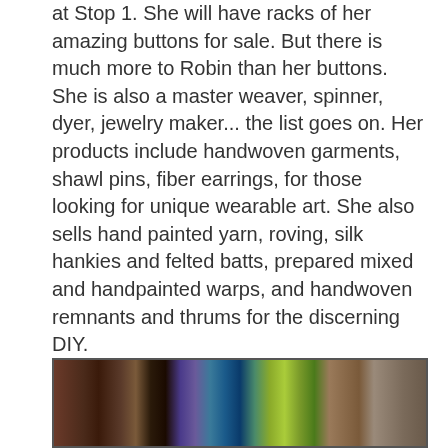at Stop 1. She will have racks of her amazing buttons for sale. But there is much more to Robin than her buttons. She is also a master weaver, spinner, dyer, jewelry maker... the list goes on. Her products include handwoven garments, shawl pins, fiber earrings, for those looking for unique wearable art. She also sells hand painted yarn, roving, silk hankies and felted batts, prepared mixed and handpainted warps, and handwoven remnants and thrums for the discerning DIY.
[Figure (photo): Photo showing colorful woven textiles and craft items displayed on wooden furniture, with vibrant colors including blues, greens, and warm earth tones.]